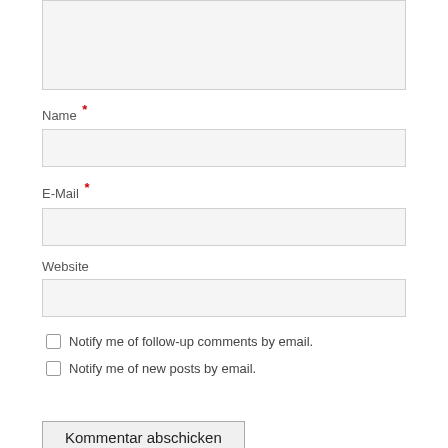[Figure (screenshot): Partially visible textarea input box at top of page]
Name *
[Figure (screenshot): Name text input field]
E-Mail *
[Figure (screenshot): E-Mail text input field]
Website
[Figure (screenshot): Website text input field]
Notify me of follow-up comments by email.
Notify me of new posts by email.
Kommentar abschicken